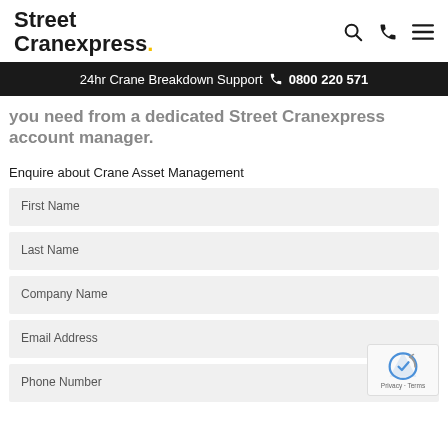Street Cranexpress.
24hr Crane Breakdown Support  0800 220 571
you need from a dedicated Street Cranexpress account manager.
Enquire about Crane Asset Management
First Name
Last Name
Company Name
Email Address
Phone Number